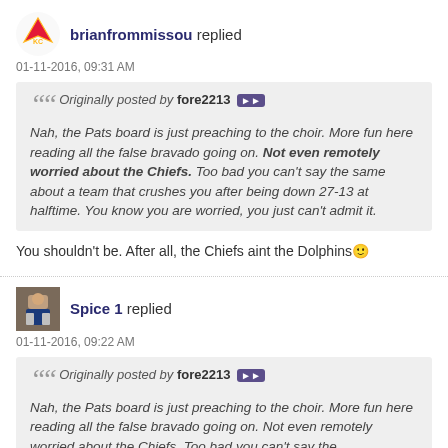brianfrommissou replied
01-11-2016, 09:31 AM
Originally posted by fore2213 — Nah, the Pats board is just preaching to the choir. More fun here reading all the false bravado going on. Not even remotely worried about the Chiefs. Too bad you can't say the same about a team that crushes you after being down 27-13 at halftime. You know you are worried, you just can't admit it.
You shouldn't be. After all, the Chiefs aint the Dolphins 🙂
Spice 1 replied
01-11-2016, 09:22 AM
Originally posted by fore2213 — Nah, the Pats board is just preaching to the choir. More fun here reading all the false bravado going on. Not even remotely worried about the Chiefs. Too bad you can't say the